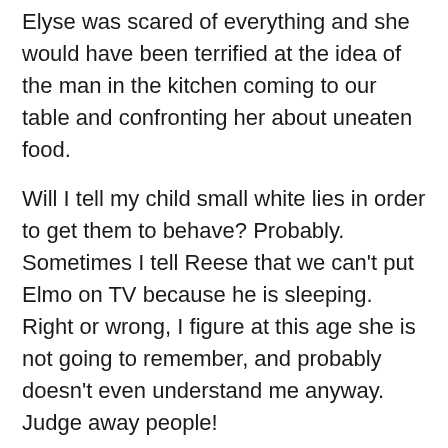Elyse was scared of everything and she would have been terrified at the idea of the man in the kitchen coming to our table and confronting her about uneaten food.
Will I tell my child small white lies in order to get them to behave? Probably. Sometimes I tell Reese that we can't put Elmo on TV because he is sleeping. Right or wrong, I figure at this age she is not going to remember, and probably doesn't even understand me anyway. Judge away people!
I remember my older sister telling me that her friends used to tell their three-year old that Spider Man would not like him if he didn't behave, and that if he didn't listen to Mommy and Daddy some character from a TV show he watches would “come and bite your butt.” As terrifying as getting your butt bitten sounds, the kid never seemed truly fearful or even entirely convinced that this would happen.